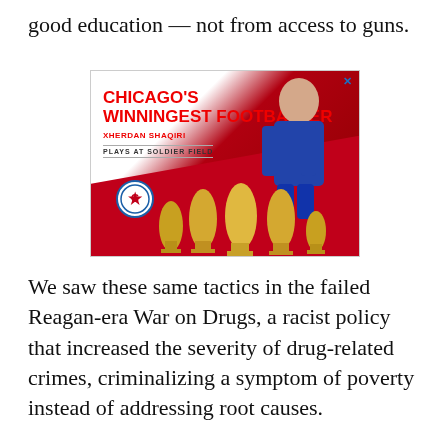good education — not from access to guns.
[Figure (photo): Advertisement for Chicago Fire FC featuring Xherdan Shaqiri — 'Chicago's Winningest Footballer, Xherdan Shaqiri, Plays at Soldier Field' with trophies and team logo]
We saw these same tactics in the failed Reagan-era War on Drugs, a racist policy that increased the severity of drug-related crimes, criminalizing a symptom of poverty instead of addressing root causes.